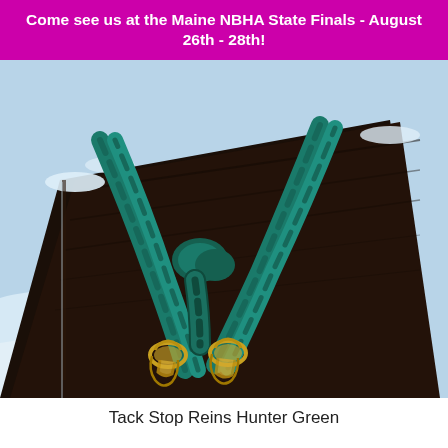Come see us at the Maine NBHA State Finals - August 26th - 28th!
[Figure (photo): Close-up photo of teal/hunter green braided rope reins with gold brass hardware snaps, laid on a dark wooden surface with snow visible in the background.]
Tack Stop Reins Hunter Green